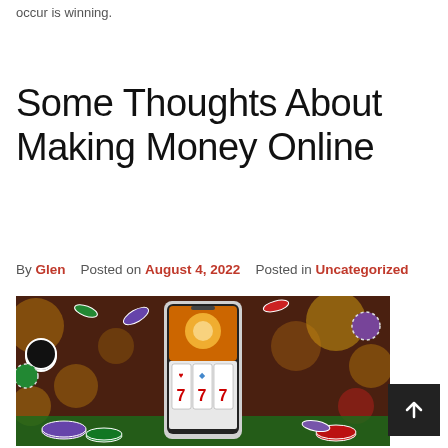occur is winning.
Some Thoughts About Making Money Online
By Glen   Posted on August 4, 2022   Posted in Uncategorized
[Figure (photo): A smartphone displaying a slot machine with triple 7s, surrounded by colorful casino chips flying in the air against a bokeh background.]